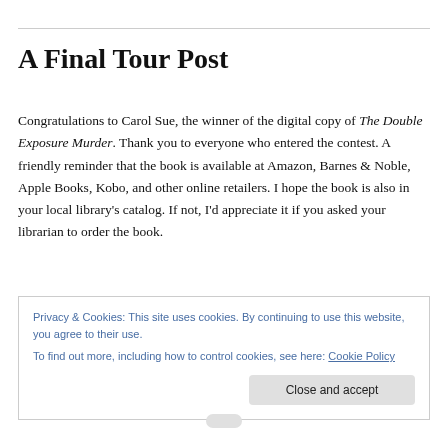A Final Tour Post
Congratulations to Carol Sue, the winner of the digital copy of The Double Exposure Murder. Thank you to everyone who entered the contest. A friendly reminder that the book is available at Amazon, Barnes & Noble, Apple Books, Kobo, and other online retailers. I hope the book is also in your local library's catalog. If not, I'd appreciate it if you asked your librarian to order the book.
Privacy & Cookies: This site uses cookies. By continuing to use this website, you agree to their use.
To find out more, including how to control cookies, see here: Cookie Policy
Close and accept